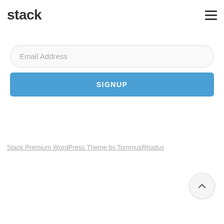stack
Email Address
SIGNUP
Stack Premium WordPress Theme by TommusRhodus
[Figure (other): Scroll-to-top button — circular arrow up chevron icon]